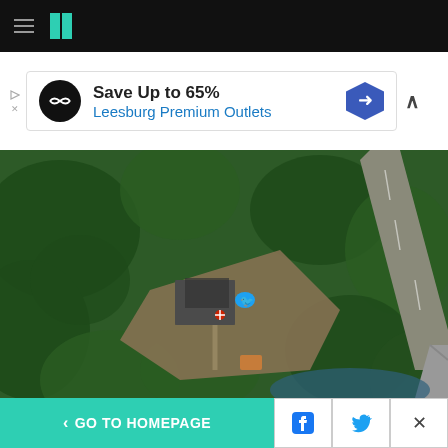HuffPost navigation bar
[Figure (screenshot): Advertisement banner: Save Up to 65% Leesburg Premium Outlets]
[Figure (photo): Aerial satellite view of a home in rural Munith, Michigan, where members of the Wolverine Watchmen trained weekly, surrounded by trees and a road]
The home in rural Munith, Michigan, where members of the Wolverine Watchmen trained weekly, according to law enforcement.
< GO TO HOMEPAGE | Facebook | Twitter | X